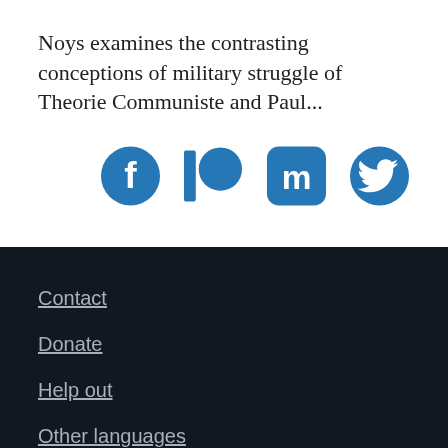Noys examines the contrasting conceptions of military struggle of Theorie Communiste and Paul...
[Figure (infographic): Four social media icons in blue: Facebook, Patreon, Mastodon, Twitter]
Contact
Donate
Help out
Other languages
Site notes